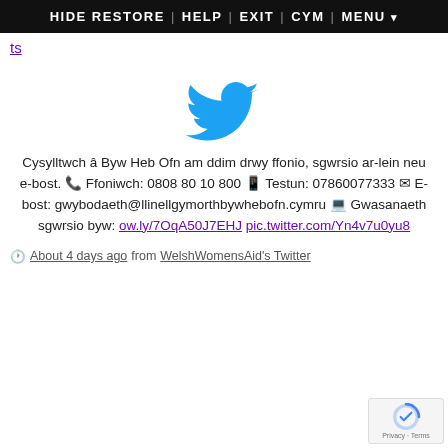HIDE RESTORE | HELP | EXIT | CYM | MENU ▾
ts
[Figure (logo): Twitter bird logo in blue]
Cysylltwch â Byw Heb Ofn am ddim drwy ffonio, sgwrsio ar-lein neu e-bost. 📞 Ffoniwch: 0808 80 10 800 📱 Testun: 07860077333 ✉ E-bost: gwybodaeth@llinellgymorthbywhebofn.cymru 💻 Gwasanaeth sgwrsio byw: ow.ly/7OqA50J7EHJ pic.twitter.com/Yn4v7u0yu8
🕐 About 4 days ago from WelshWomensAid's Twitter